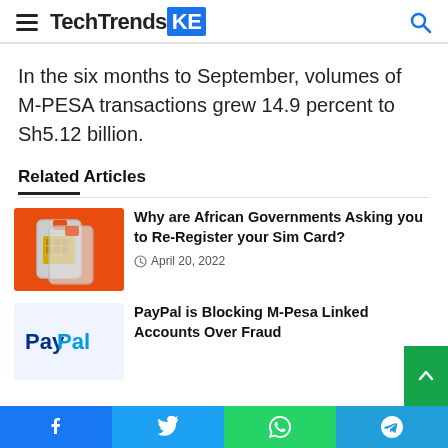TechTrendsKE
In the six months to September, volumes of M-PESA transactions grew 14.9 percent to Sh5.12 billion.
Related Articles
Why are African Governments Asking you to Re-Register your Sim Card? — April 20, 2022
PayPal is Blocking M-Pesa Linked Accounts Over Fraud